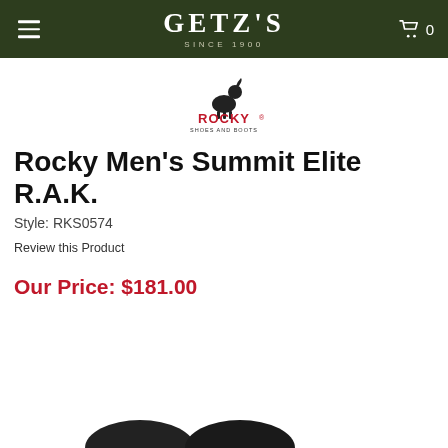GETZ'S SINCE 1900
[Figure (logo): Rocky Shoes and Boots brand logo with mountain goat graphic]
Rocky Men's Summit Elite R.A.K.
Style: RKS0574
Review this Product
Our Price: $181.00
[Figure (photo): Partial view of black boots at bottom of page]